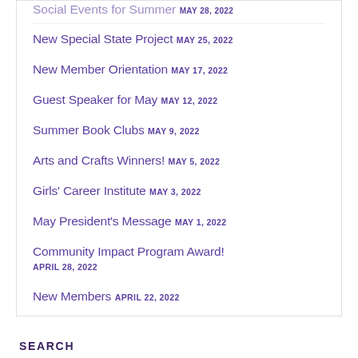Social Events for Summer MAY 28, 2022
New Special State Project MAY 25, 2022
New Member Orientation MAY 17, 2022
Guest Speaker for May MAY 12, 2022
Summer Book Clubs MAY 9, 2022
Arts and Crafts Winners! MAY 5, 2022
Girls' Career Institute MAY 3, 2022
May President's Message MAY 1, 2022
Community Impact Program Award! APRIL 28, 2022
New Members APRIL 22, 2022
SEARCH